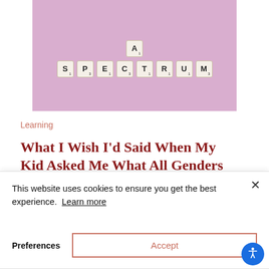[Figure (photo): Scrabble tiles spelling 'A SPECTRUM' on a pink/lavender background]
Learning
What I Wish I'd Said When My Kid Asked Me What All Genders Meant
This website uses cookies to ensure you get the best experience.  Learn more
Preferences
Accept